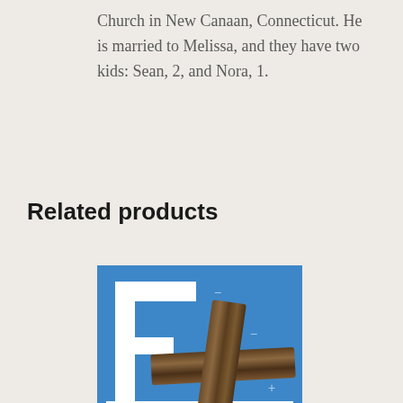Church in New Canaan, Connecticut. He is married to Melissa, and they have two kids: Sean, 2, and Nora, 1.
Related products
[Figure (photo): Book cover with blue background, white letter shapes resembling 'LIFE', and a wooden cross overlaid on top]